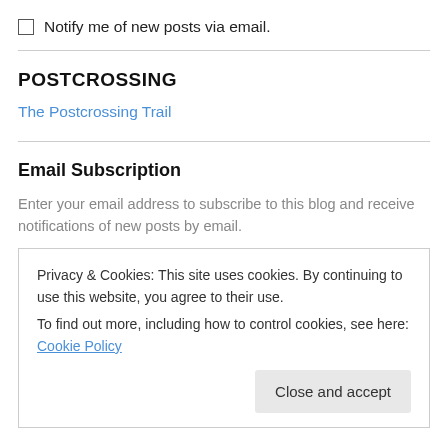Notify me of new posts via email.
POSTCROSSING
The Postcrossing Trail
Email Subscription
Enter your email address to subscribe to this blog and receive notifications of new posts by email.
Privacy & Cookies: This site uses cookies. By continuing to use this website, you agree to their use.
To find out more, including how to control cookies, see here: Cookie Policy
Close and accept